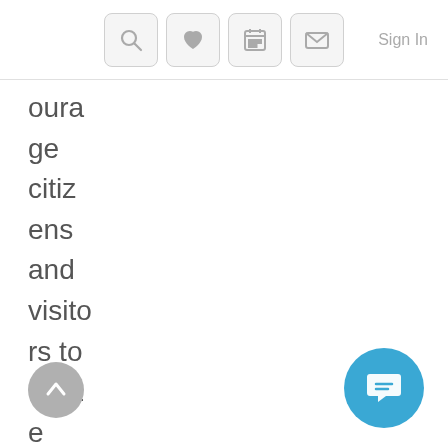Navigation bar with icons: search, favorite, calendar, mail, and Sign In link
ourage citizens and visitors to utilize the park. We also knew this